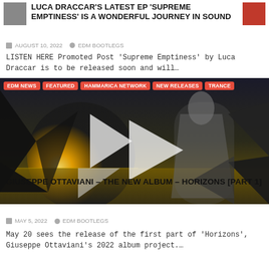LUCA DRACCAR'S LATEST EP 'SUPREME EMPTINESS' IS A WONDERFUL JOURNEY IN SOUND
AUGUST 10, 2022   EDM BOOTLEGS
LISTEN HERE Promoted Post 'Supreme Emptiness' by Luca Draccar is to be released soon and will…
[Figure (photo): Album artwork / promotional image with geometric triangle overlays and sunset background, with tags: EDM NEWS, Featured, Hammarica Network, NEW RELEASES, TRANCE]
GIUSEPPE OTTAVIANI – THE NEW ALBUM – HORIZONS [PART 1]
MAY 5, 2022   EDM BOOTLEGS
May 20 sees the release of the first part of 'Horizons', Giuseppe Ottaviani's 2022 album project….